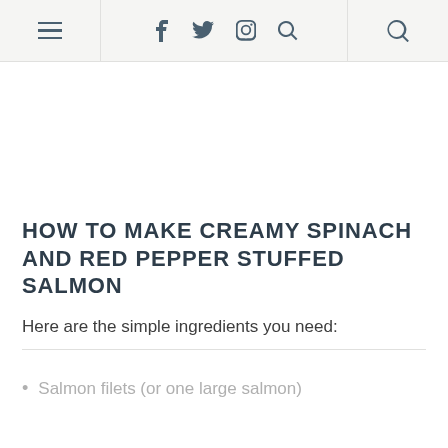≡  f  𝕏  𝑝  ◻  🔍
HOW TO MAKE CREAMY SPINACH AND RED PEPPER STUFFED SALMON
Here are the simple ingredients you need:
Salmon filets (or one large salmon)